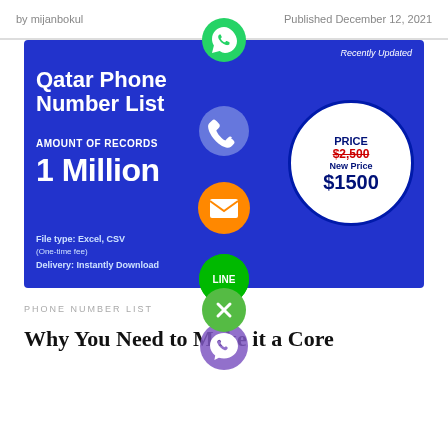by mijanbokul   Published December 12, 2021
[Figure (infographic): Qatar Phone Number List infographic showing: Amount of Records: 1 Million, File type: Excel, CSV, One-time fee, Delivery: Instantly Download. Price circle: PRICE $2,500 (strikethrough), New Price $1500. Blue background with 'Recently Updated' tag.]
PHONE NUMBER LIST
Why You Need to Make it a Core